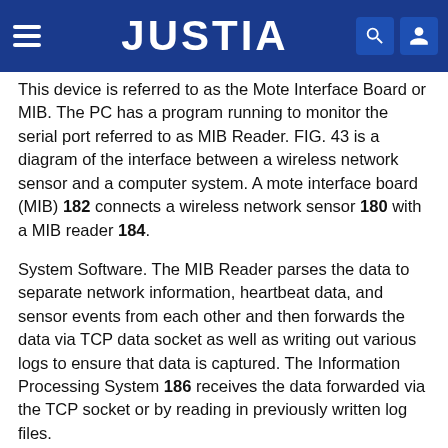JUSTIA
This device is referred to as the Mote Interface Board or MIB. The PC has a program running to monitor the serial port referred to as MIB Reader. FIG. 43 is a diagram of the interface between a wireless network sensor and a computer system. A mote interface board (MIB) 182 connects a wireless network sensor 180 with a MIB reader 184.
System Software. The MIB Reader parses the data to separate network information, heartbeat data, and sensor events from each other and then forwards the data via TCP data socket as well as writing out various logs to ensure that data is captured. The Information Processing System 186 receives the data forwarded via the TCP socket or by reading in previously written log files.